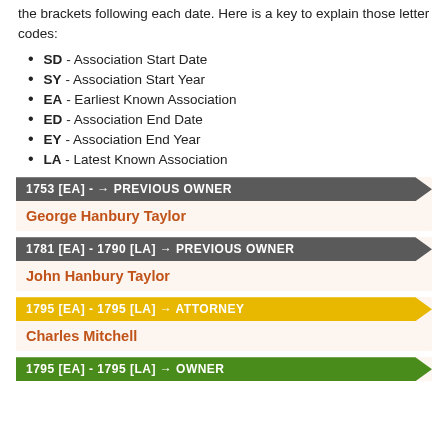the brackets following each date. Here is a key to explain those letter codes:
SD - Association Start Date
SY - Association Start Year
EA - Earliest Known Association
ED - Association End Date
EY - Association End Year
LA - Latest Known Association
1753 [EA] - → PREVIOUS OWNER
George Hanbury Taylor
1781 [EA] - 1790 [LA] → PREVIOUS OWNER
John Hanbury Taylor
1795 [EA] - 1795 [LA] → ATTORNEY
Charles Mitchell
1795 [EA] - 1795 [LA] → OWNER